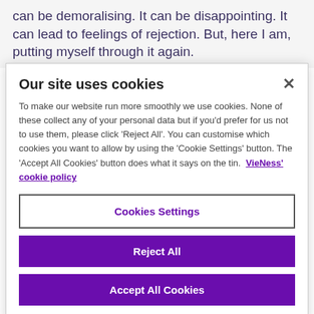can be demoralising. It can be disappointing. It can lead to feelings of rejection. But, here I am, putting myself through it again.
Our site uses cookies
To make our website run more smoothly we use cookies. None of these collect any of your personal data but if you'd prefer for us not to use them, please click 'Reject All'. You can customise which cookies you want to allow by using the 'Cookie Settings' button. The 'Accept All Cookies' button does what it says on the tin. VieNess' cookie policy
Cookies Settings
Reject All
Accept All Cookies